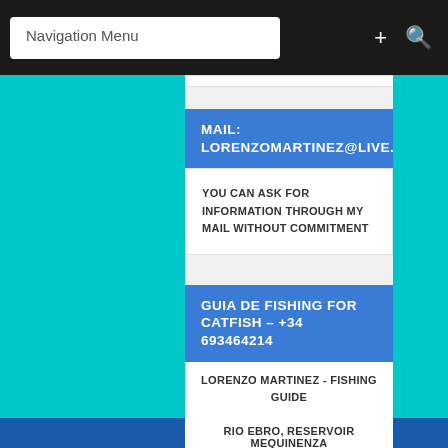Navigation Menu
MAIL: LORENZOMARTINEZ@LIVE.COM
YOU CAN ASK FOR INFORMATION THROUGH MY MAIL WITHOUT COMMITMENT
GUIA DE FISHING FOR CATFISH – +34 693464214
LORENZO MARTINEZ - FISHING GUIDE
RIO EBRO, RESERVOIR MEQUINENZA